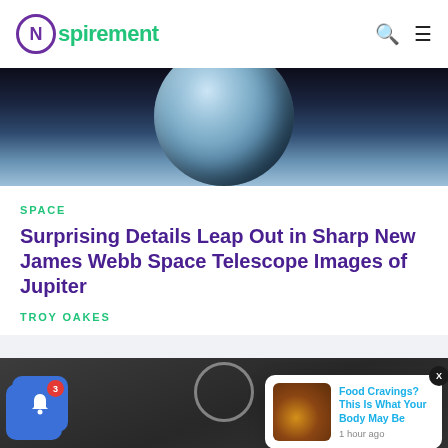Nspirement
[Figure (photo): Partial view of Jupiter planet against dark space background]
SPACE
Surprising Details Leap Out in Sharp New James Webb Space Telescope Images of Jupiter
TROY OAKES
[Figure (photo): Chalkboard background with a circular shape at top]
[Figure (photo): Notification popup: Food Cravings? This Is What Your Body May Be — 1 hour ago, with thumbnail of food]